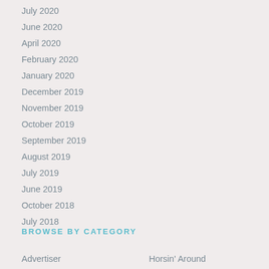July 2020
June 2020
April 2020
February 2020
January 2020
December 2019
November 2019
October 2019
September 2019
August 2019
July 2019
June 2019
October 2018
July 2018
BROWSE BY CATEGORY
Advertiser
Horsin' Around